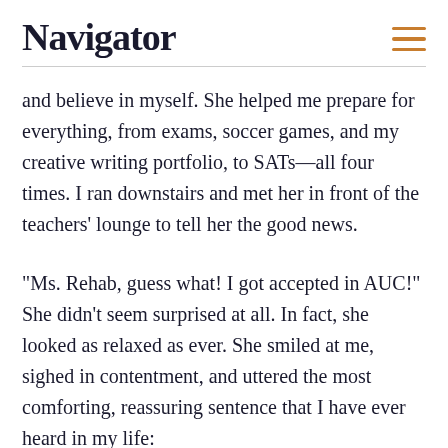Navigator
and believe in myself. She helped me prepare for everything, from exams, soccer games, and my creative writing portfolio, to SATs—all four times. I ran downstairs and met her in front of the teachers' lounge to tell her the good news.
“Ms. Rehab, guess what! I got accepted in AUC!” She didn’t seem surprised at all. In fact, she looked as relaxed as ever. She smiled at me, sighed in contentment, and uttered the most comforting, reassuring sentence that I have ever heard in my life: